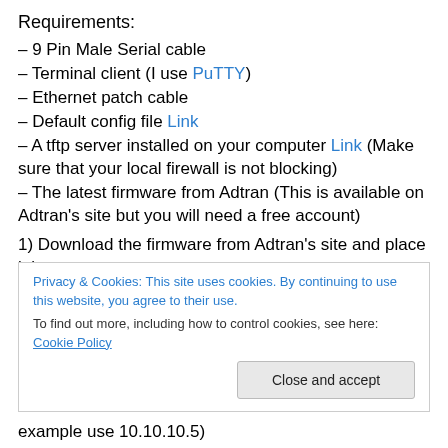Requirements:
– 9 Pin Male Serial cable
– Terminal client (I use PuTTY)
– Ethernet patch cable
– Default config file Link
– A tftp server installed on your computer Link (Make sure that your local firewall is not blocking)
– The latest firmware from Adtran (This is available on Adtran's site but you will need a free account)
1) Download the firmware from Adtran's site and place it in
Privacy & Cookies: This site uses cookies. By continuing to use this website, you agree to their use.
To find out more, including how to control cookies, see here: Cookie Policy
example use 10.10.10.5)